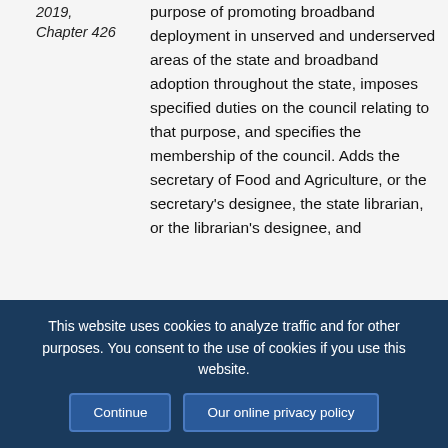2019, Chapter 426
purpose of promoting broadband deployment in unserved and underserved areas of the state and broadband adoption throughout the state, imposes specified duties on the council relating to that purpose, and specifies the membership of the council. Adds the secretary of Food and Agriculture, or the secretary's designee, the state librarian, or the librarian's designee, and
This website uses cookies to analyze traffic and for other purposes. You consent to the use of cookies if you use this website.